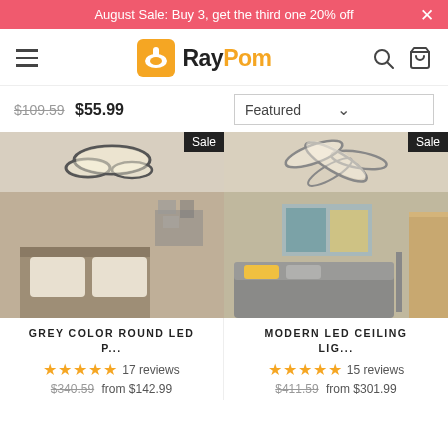August Sale: Buy 3, get the third one 20% off
[Figure (logo): RayPom logo with orange lamp icon, Ray in black bold, Pom in orange bold]
$109.59  $55.99   Featured
[Figure (photo): Grey color round LED ceiling light installed in a bedroom with warm lighting, Sale badge top right]
[Figure (photo): Modern LED ceiling light with petal/flower shape installed in a living room, Sale badge top right]
GREY COLOR ROUND LED P...
MODERN LED CEILING LIG...
★★★★★ 17 reviews
★★★★★ 15 reviews
$340.59  from $142.99
$411.59  from $301.99